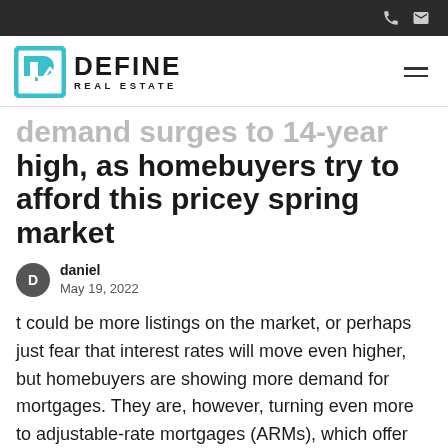Define Real Estate — navigation bar with phone and email icons
[Figure (logo): Define Real Estate logo: teal house/graph icon on the left, DEFINE in bold black uppercase with REAL ESTATE below in spaced caps]
demand surges to 14-year high, as homebuyers try to afford this pricey spring market
daniel
May 19, 2022
t could be more listings on the market, or perhaps just fear that interest rates will move even higher, but homebuyers are showing more demand for mortgages. They are, however, turning even more to adjustable-rate mortgages (ARMs), which offer